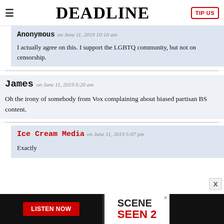DEADLINE
Anonymous on June 11, 2019 10:10 am
I actually agree on this. I support the LGBTQ community, but not on censorship.
James on June 11, 2019 6:20 am
Oh the irony of somebody from Vox complaining about biased partisan BS content.
Ice Cream Media on June 11, 2019 5:07 pm
Exactly
[Figure (screenshot): Advertisement banner at bottom: black background with red LISTEN NOW button on left, and SCENE SEEN 2 logo on right]